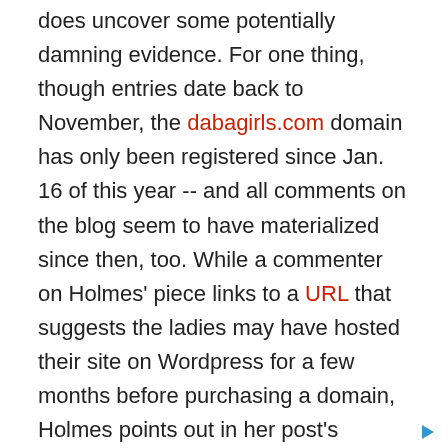does uncover some potentially damning evidence. For one thing, though entries date back to November, the dabagirls.com domain has only been registered since Jan. 16 of this year -- and all comments on the blog seem to have materialized since then, too. While a commenter on Holmes' piece links to a URL that suggests the ladies may have hosted their site on Wordpress for a few months before purchasing a domain, Holmes points out in her post's comments section, "There's nothing at the Wordpress address except a mirror of the main site (and they update together), and no indication it ever existed before about mid-late January either. If there were additional entries or additional comments at the Wordpress address (or if, as [editor Troy Graham] points out, the Wayback